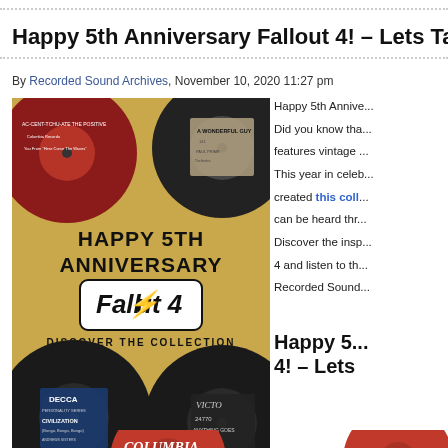Happy 5th Anniversary Fallout 4! – Lets Talk
By Recorded Sound Archives, November 10, 2020 11:27 pm
[Figure (photo): Promotional image for Fallout 4 5th Anniversary showing vintage vinyl records (DECCA Civilization by Andrews Sisters, Victor Anything Goes, A Wonderful Guy, Ac-Cent-Tchu-Ate the Positive) arranged around a gold background with text 'HAPPY 5TH ANNIVERSARY Fallout 4 DISCOVER THE COLLECTION']
Happy 5th Annive... Did you know tha... features vintage ... This year in celeb... created this coll... can be heard thr... Discover the insp... 4 and listen to th... Recorded Sound...
Happy 5... 4! – Lets
[Figure (photo): Bottom portion showing Columbia record label in red with number 36771]